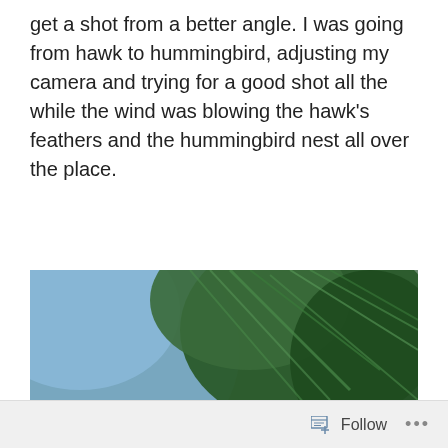get a shot from a better angle. I was going from hawk to hummingbird, adjusting my camera and trying for a good shot all the while the wind was blowing the hawk's feathers and the hummingbird nest all over the place.
[Figure (photo): Close-up photograph of a hummingbird sitting in a lichen-covered nest on a pine tree branch, surrounded by pine needles with a blurred blue background]
Follow ...